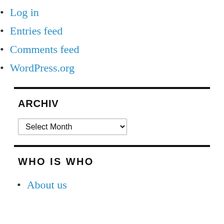Log in
Entries feed
Comments feed
WordPress.org
ARCHIV
[Figure (other): A dropdown select element labeled 'Select Month']
WHO IS WHO
About us